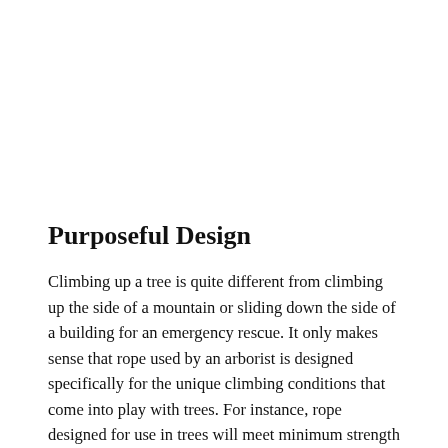Purposeful Design
Climbing up a tree is quite different from climbing up the side of a mountain or sliding down the side of a building for an emergency rescue. It only makes sense that rope used by an arborist is designed specifically for the unique climbing conditions that come into play with trees. For instance, rope designed for use in trees will meet minimum strength